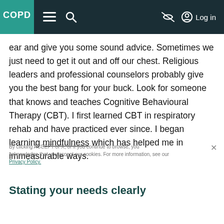COPD [logo] [hamburger menu] [search] [eye-slash] Log in
ear and give you some sound advice. Sometimes we just need to get it out and off our chest. Religious leaders and professional counselors probably give you the best bang for your buck. Look for someone that knows and teaches Cognitive Behavioural Therapy (CBT). I first learned CBT in respiratory rehab and have practiced ever since. I began learning mindfulness which has helped me in immeasurable ways.
Stating your needs clearly
The changes are hard for most of us so we